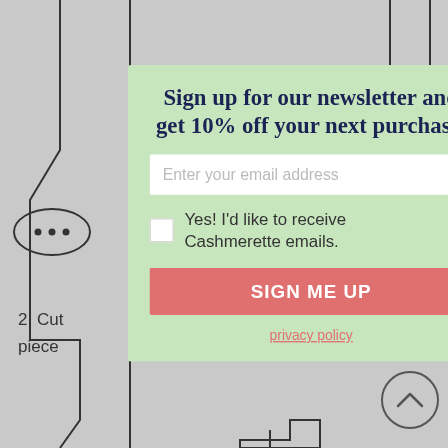[Figure (screenshot): Gray background with sewing pattern outlines and partial text '2. Cut' and 'piece' visible at bottom-left]
Sign up for our newsletter and get 10% off your next purchase.
Enter your email address
Yes! I'd like to receive Cashmerette emails.
SIGN ME UP
privacy policy